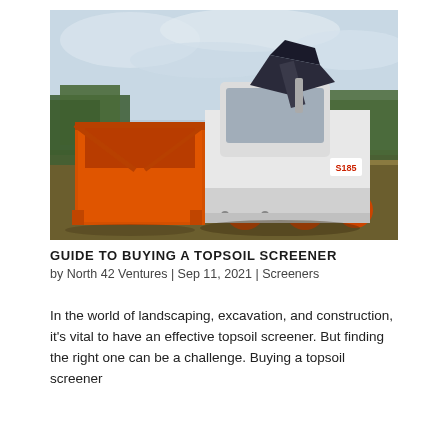[Figure (photo): A Bobcat S185 skid steer loader carrying an orange topsoil screener box attachment in an open field with cloudy sky and trees in background]
GUIDE TO BUYING A TOPSOIL SCREENER
by North 42 Ventures | Sep 11, 2021 | Screeners
In the world of landscaping, excavation, and construction, it's vital to have an effective topsoil screener. But finding the right one can be a challenge. Buying a topsoil screener